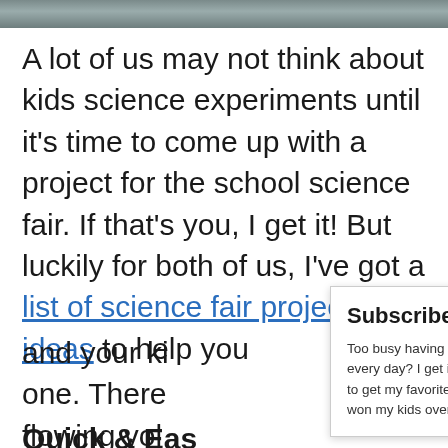[Figure (photo): Partial photo strip at top of page showing blurred outdoor/nature scene]
A lot of us may not think about kids science experiments until it’s time to come up with a project for the school science fair. If that’s you, I get it! But luckily for both of us, I’ve got a list of science fair project ideas to help you and your ki... one. There... flowing vol...
Subscribe!
Too busy having fun with the kids to check in every day? I get it! Sign up for the newsletter to get my favorite articles, the latest recipe that won my kids over, and other parenting tips!
Quick & Eas...